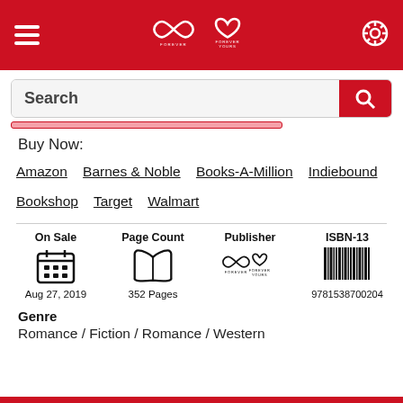Forever / Forever Yours
Search
Buy Now:
Amazon   Barnes & Noble   Books-A-Million   Indiebound   Bookshop   Target   Walmart
| On Sale | Page Count | Publisher | ISBN-13 |
| --- | --- | --- | --- |
| Aug 27, 2019 | 352 Pages | [Forever / Forever Yours logo] | 9781538700204 |
Genre
Romance / Fiction / Romance / Western